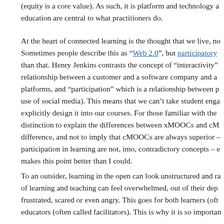(equity is a core value). As such, it is platform and technology agnostic — education are central to what practitioners do.
At the heart of connected learning is the thought that we live, no Sometimes people describe this as "Web 2.0", but participatory than that. Henry Jenkins contrasts the concept of "interactivity" relationship between a customer and a software company and a platforms, and "participation" which is a relationship between p use of social media). This means that we can't take student enga explicitly design it into our courses. For those familiar with the distinction to explain the differences between xMOOCs and cM difference, and not to imply that cMOOCs are always superior - participation in learning are not, imo, contradictory concepts – e makes this point better than I could.
To an outsider, learning in the open can look unstructured and ra of learning and teaching can feel overwhelmed, out of their dep frustrated, scared or even angry. This goes for both learners (oft educators (often called facilitators). This is why it is so importan